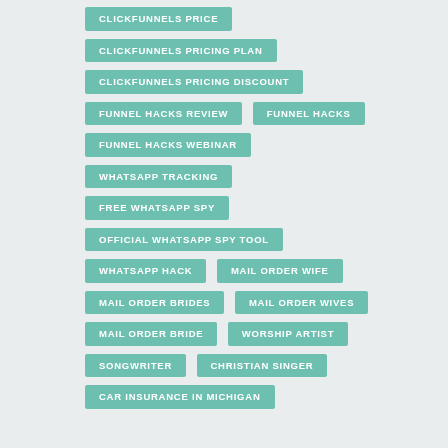CLICKFUNNELS PRICE
CLICKFUNNELS PRICING PLAN
CLICKFUNNELS PRICING DISCOUNT
FUNNEL HACKS REVIEW
FUNNEL HACKS
FUNNEL HACKS WEBINAR
WHATSAPP TRACKING
FREE WHATSAPP SPY
OFFICIAL WHATSAPP SPY TOOL
WHATSAPP HACK
MAIL ORDER WIFE
MAIL ORDER BRIDES
MAIL ORDER WIVES
MAIL ORDER BRIDE
WORSHIP ARTIST
SONGWRITER
CHRISTIAN SINGER
CAR INSURANCE IN MICHIGAN